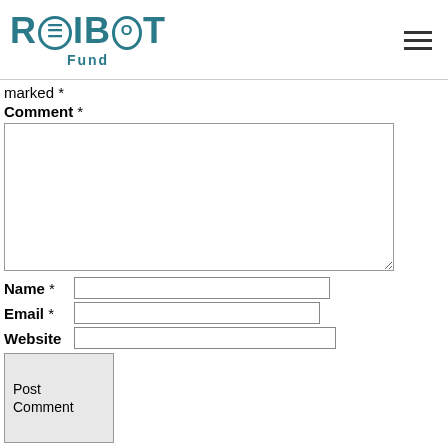ROIBOT Fund
marked *
Comment *
Name *
Email *
Website
Post Comment
← Above 40 Going out with
How To Get Married In The Philippines →
Search …
Recent Posts
Unfortuitously, the us government doesn't consistently gather otherwise statement education loan data at community